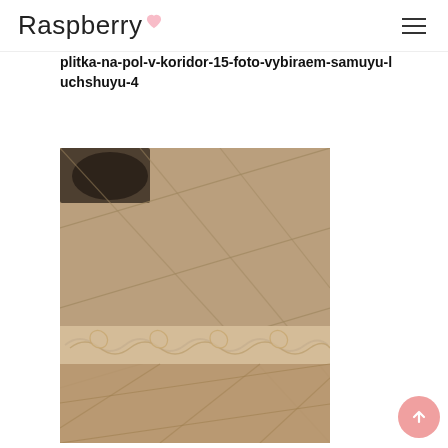Raspberry
plitka-na-pol-v-koridor-15-foto-vybiraem-samuyu-luchshuyu-4
[Figure (photo): Photo of floor tiles in a corridor — large beige/brown ceramic tiles laid diagonally with a decorative border strip featuring scrollwork or wave pattern in the middle section. A dark decorative object is visible at the top left corner.]